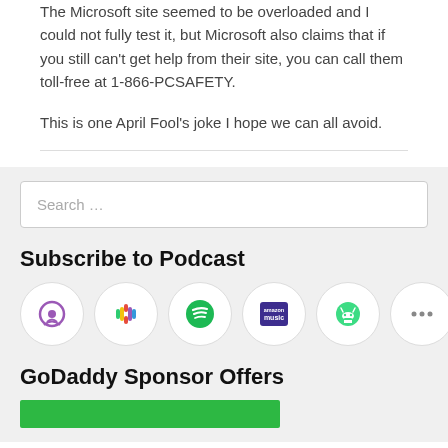The Microsoft site seemed to be overloaded and I could not fully test it, but Microsoft also claims that if you still can't get help from their site, you can call them toll-free at 1-866-PCSAFETY.
This is one April Fool's joke I hope we can all avoid.
Search …
Subscribe to Podcast
[Figure (illustration): Six podcast platform icons in circular buttons: Apple Podcasts (purple), Google Podcasts (colorful), Spotify (green), Amazon Music (purple square), Android/RSS (green), and more (ellipsis).]
GoDaddy Sponsor Offers
[Figure (illustration): GoDaddy green banner/button at the bottom of the page.]